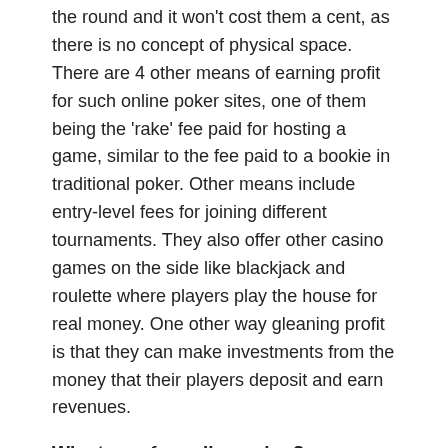the round and it won't cost them a cent, as there is no concept of physical space. There are 4 other means of earning profit for such online poker sites, one of them being the 'rake' fee paid for hosting a game, similar to the fee paid to a bookie in traditional poker. Other means include entry-level fees for joining different tournaments. They also offer other casino games on the side like blackjack and roulette where players play the house for real money. One other way gleaning profit is that they can make investments from the money that their players deposit and earn revenues.
Why to prefer online poker?
idn poker rooms do profit a lot, but so do the players. The players of such online games also have the advantage of making a fortune out of them as compared to that of traditional means. One obvious perk is the fact players do not have to be physically present at the table. In conventional poker, players generally try to guess their partner's betting